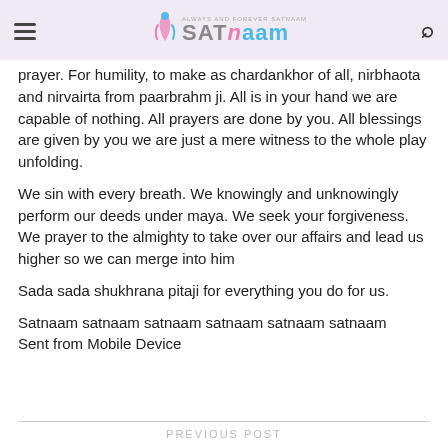ALWAYS AND FOREVER SATNAAM — SATNAAM
prayer. For humility, to make us chardankhor of all, nirbhaota and nirvairta from paarbrahm ji. All is in your hand we are capable of nothing. All prayers are done by you. All blessings are given by you we are just a mere witness to the whole play unfolding.
We sin with every breath. We knowingly and unknowingly perform our deeds under maya. We seek your forgiveness. We prayer to the almighty to take over our affairs and lead us higher so we can merge into him
Sada sada shukhrana pitaji for everything you do for us.
Satnaam satnaam satnaam satnaam satnaam satnaam
Sent from Mobile Device
PREVIOUS POST